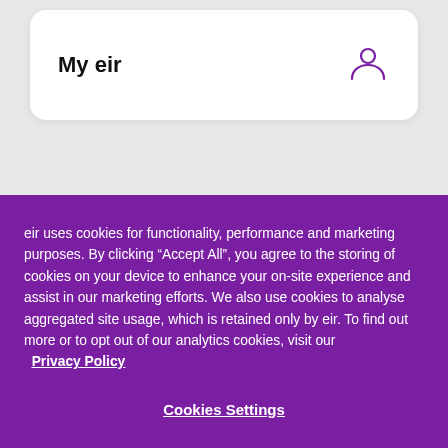My eir
eir uses cookies for functionality, performance and marketing purposes. By clicking “Accept All”, you agree to the storing of cookies on your device to enhance your on-site experience and assist in our marketing efforts. We also use cookies to analyse aggregated site usage, which is retained only by eir. To find out more or to opt out of our analytics cookies, visit our  Privacy Policy
Cookies Settings
Reject All
Accept All